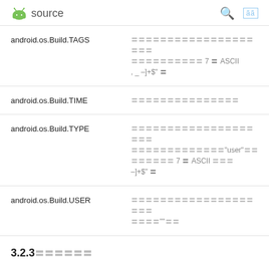android source
| Property | Description |
| --- | --- |
| android.os.Build.TAGS | 〓〓〓〓〓〓〓〓〓〓〓〓〓〓〓〓〓〓〓〓 〓〓〓〓〓〓〓〓〓〓 7 〓 ASCII , _ –]+$" 〓 |
| android.os.Build.TIME | 〓〓〓〓〓〓〓〓〓〓〓〓〓〓〓 |
| android.os.Build.TYPE | 〓〓〓〓〓〓〓〓〓〓〓〓〓〓〓〓〓〓〓〓 〓〓〓〓〓〓〓〓〓〓〓〓〓"user"〓〓 〓〓〓〓〓〓 7 〓 ASCII 〓〓〓 –]+$" 〓 |
| android.os.Build.USER | 〓〓〓〓〓〓〓〓〓〓〓〓〓〓〓〓〓〓〓〓 〓〓〓〓""〓〓 |
3.2.3〓〓〓〓〓〓
〓〓〓〓〓〓〓〓〓 Android 〓〓〓〓〓 Intent 〓〓〓〓〓〓〓〓〓〓 "〓〓"〓〓〓〓〓〓〓〓〓